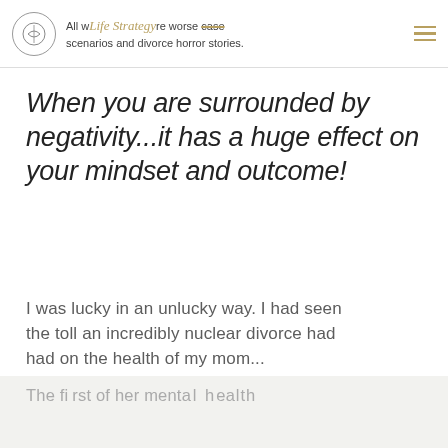All worst case scenarios and divorce horror stories. Life Strategy
When you are surrounded by negativity...it has a huge effect on your mindset and outcome!
I was lucky in an unlucky way. I had seen the toll an incredibly nuclear divorce had had on the health of my mom...